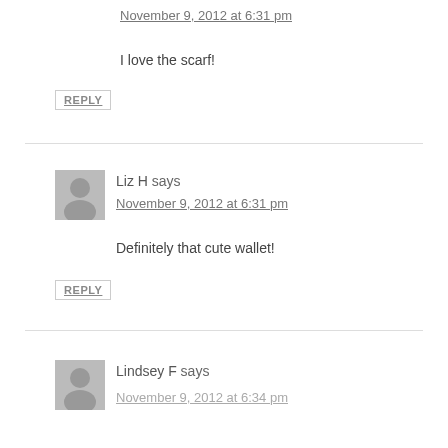November 9, 2012 at 6:31 pm
I love the scarf!
REPLY
Liz H says
November 9, 2012 at 6:31 pm
Definitely that cute wallet!
REPLY
Lindsey F says
November 9, 2012 at 6:34 pm